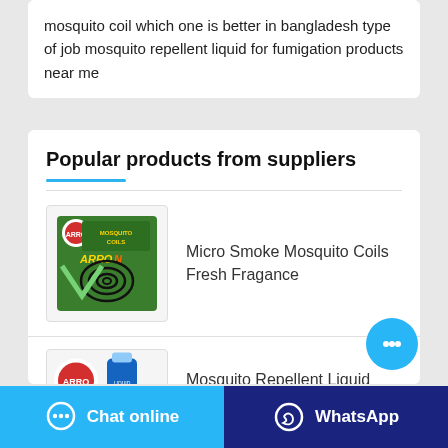mosquito coil which one is better in bangladesh type of job mosquito repellent liquid for fumigation products near me
Popular products from suppliers
[Figure (photo): Arrow brand Mosquito Coils product box - green box with mosquito coil image and Arrow logo]
Micro Smoke Mosquito Coils Fresh Fragance
[Figure (photo): Arrow brand Mosquito Repellent Liquid product - partial view]
Mosquito Repellent Liquid
[Figure (illustration): Floating chat bubble button with three dots icon]
Chat online
WhatsApp